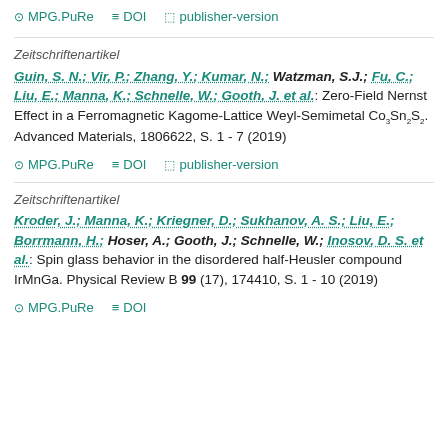MPG.PuRe  DOI  publisher-version
Zeitschriftenartikel
Guin, S. N.; Vir, P.; Zhang, Y.; Kumar, N.; Watzman, S.J.; Fu, C.; Liu, E.; Manna, K.; Schnelle, W.; Gooth, J. et al.: Zero-Field Nernst Effect in a Ferromagnetic Kagome-Lattice Weyl-Semimetal Co3Sn2S2. Advanced Materials, 1806622, S. 1 - 7 (2019)
MPG.PuRe  DOI  publisher-version
Zeitschriftenartikel
Kroder, J.; Manna, K.; Kriegner, D.; Sukhanov, A. S.; Liu, E.; Borrmann, H.; Hoser, A.; Gooth, J.; Schnelle, W.; Inosov, D. S. et al.: Spin glass behavior in the disordered half-Heusler compound IrMnGa. Physical Review B 99 (17), 174410, S. 1 - 10 (2019)
MPG.PuRe  DOI